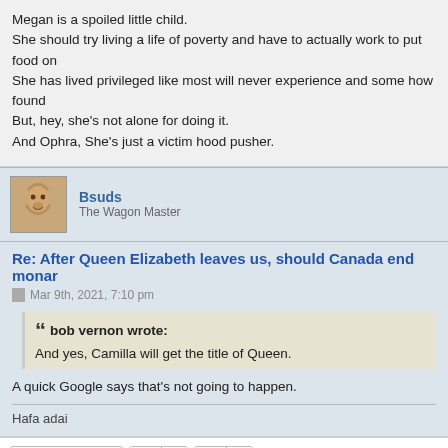Megan is a spoiled little child.
She should try living a life of poverty and have to actually work to put food on
She has lived privileged like most will never experience and some how found
But, hey, she's not alone for doing it.
And Ophra, She's just a victim hood pusher.
Bsuds
The Wagon Master
Re: After Queen Elizabeth leaves us, should Canada end monar
Mar 9th, 2021, 7:10 pm
bob vernon wrote:
And yes, Camilla will get the title of Queen.
A quick Google says that's not going to happen.
Hafa adai
Post Reply
58 posts